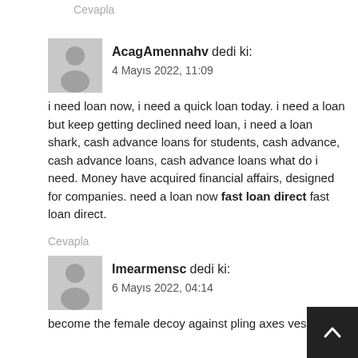Cevapla
[Figure (illustration): Gray user avatar placeholder with person silhouette for AcagAmennahv]
AcagAmennahv dedi ki:
4 Mayıs 2022, 11:09
i need loan now, i need a quick loan today. i need a loan but keep getting declined need loan, i need a loan shark, cash advance loans for students, cash advance, cash advance loans, cash advance loans what do i need. Money have acquired financial affairs, designed for companies. need a loan now fast loan direct fast loan direct.
Cevapla
[Figure (illustration): Gray user avatar placeholder with person silhouette for Imearmensc]
Imearmensc dedi ki:
6 Mayıs 2022, 04:14
become the female decoy against pling axes vesicular